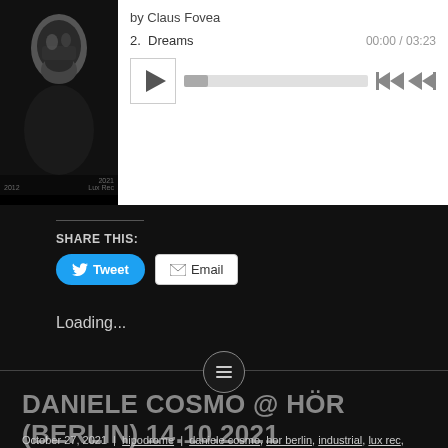[Figure (screenshot): Music player widget with album art thumbnail showing a black-and-white bearded man image, labeled 2012 and 2021 Lux Rec. Player shows 'by Claus Fovea', track '2. Dreams', time '00:00 / 03:23', play button, progress bar, skip controls.]
SHARE THIS:
Tweet
Email
Loading...
DANIELE COSMO @ HÖR (BERLIN) 14.10.2021
October 27, 2021 | hipodrome | daniele cosmo, hor berlin, industrial, lux rec, minimal synth, techno | Leave a comment